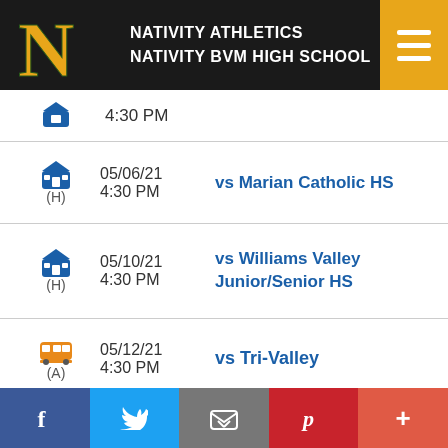NATIVITY ATHLETICS NATIVITY BVM HIGH SCHOOL
05/06/21 4:30 PM (H) vs Marian Catholic HS
05/10/21 4:30 PM (H) vs Williams Valley Junior/Senior HS
05/12/21 4:30 PM (A) vs Tri-Valley
05/15/21 12:00 PM (A) vs Tamaqua Area Sr HS
05/17/21 (H) vs Southern Columbia